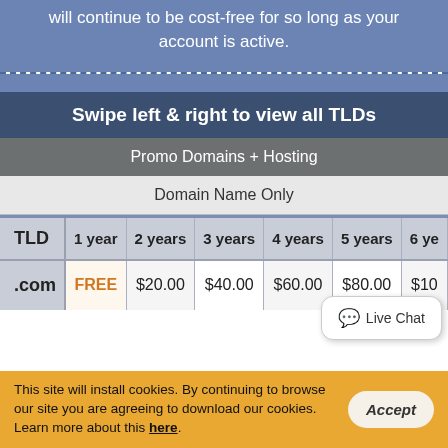will continue to be cost-free for so long as your account is active.
Swipe left & right to view all TLDs
| TLD | 1 year | 2 years | 3 years | 4 years | 5 years | 6 ye... |
| --- | --- | --- | --- | --- | --- | --- |
| .com | FREE | $20.00 | $40.00 | $60.00 | $80.00 | $10... |
This site will install cookies. By continuing to browse our site you are agreeing to download our cookies. Learn more about this here.